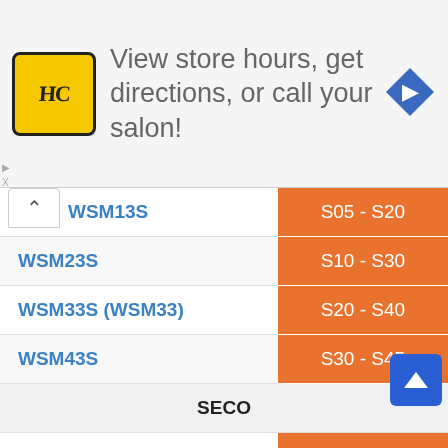[Figure (screenshot): Advertisement banner with HC salon logo and text 'View store hours, get directions, or call your salon!' with a navigation arrow icon]
| Product | Grade Range |
| --- | --- |
| WSM13S | S05 - S20 |
| WSM23S | S10 - S30 |
| WSM33S (WSM33) | S20 - S40 |
| WSM43S | S30 - S45 |
| SECO |  |
| CP500 | S15 - S20 |
| CP600 | S20 - S35 |
| TUNGALOY |  |
| AH905 | S05 - S10 |
| AH7025 | S15 - S2? |
| AH725 | S15 - S25 |